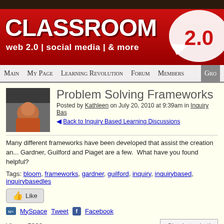[Figure (logo): Classroom 2.0 website logo on red background with speech bubble graphic. Text: CLASSROOM 2.0, web 2.0 | social media | & more]
Main   My Page   Learning Revolution   Forum   Members   Gro
Problem Solving Frameworks
Posted by Kathleen on July 20, 2010 at 9:39am in Inquiry Bas
Back to Inquiry Based Learning Discussions
Many different frameworks have been developed that assist the creation an... Gardner, Guilford and Piaget are a few.  What have you found helpful?
Tags: bloom, frameworks, gardner, guilford, inquiry, inquirybased, inquirybasedles
Like
MySpace  Tweet  Facebook
Views: 5980
Sign in to chat!